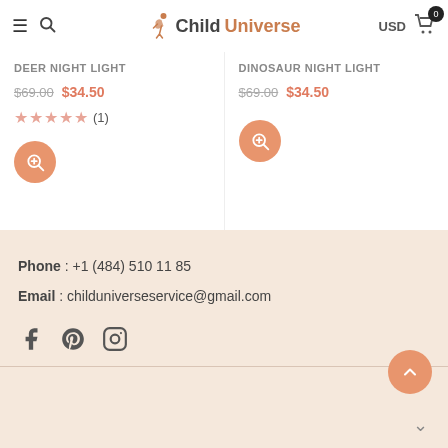ChildUniverse — USD 0
DEER NIGHT LIGHT
$69.00 $34.50
★★★★★ (1)
DINOSAUR NIGHT LIGHT
$69.00 $34.50
Phone : +1 (484) 510 11 85
Email : childuniverseservice@gmail.com